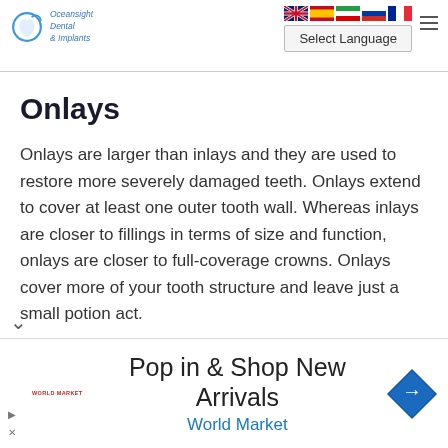Oceansight Dental & Implants — Select Language
Onlays
Onlays are larger than inlays and they are used to restore more severely damaged teeth. Onlays extend to cover at least one outer tooth wall. Whereas inlays are closer to fillings in terms of size and function, onlays are closer to full-coverage crowns. Onlays cover more of your tooth structure and leave just a small potion act.
[Figure (screenshot): Advertisement banner: 'Pop in & Shop New Arrivals' with World Market branding and logo]
Pop in & Shop New Arrivals
World Market